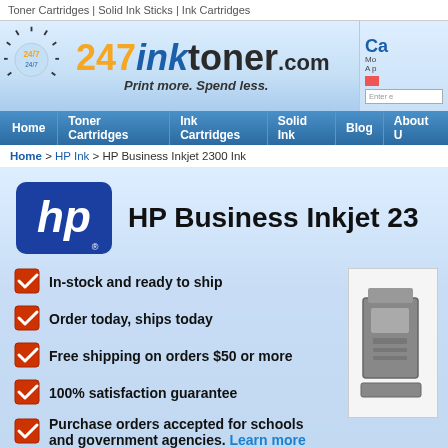Toner Cartridges | Solid Ink Sticks | Ink Cartridges
[Figure (logo): 247inktoner.com logo with sun/starburst graphic and tagline 'Print more. Spend less.']
Home | Toner Cartridges | Ink Cartridges | Solid Ink | Blog | About
Home > HP Ink > HP Business Inkjet 2300 Ink
[Figure (logo): HP logo — blue rounded square with hp in white script]
HP Business Inkjet 23
In-stock and ready to ship
Order today, ships today
Free shipping on orders $50 or more
100% satisfaction guarantee
Purchase orders accepted for schools and government agencies. Learn more